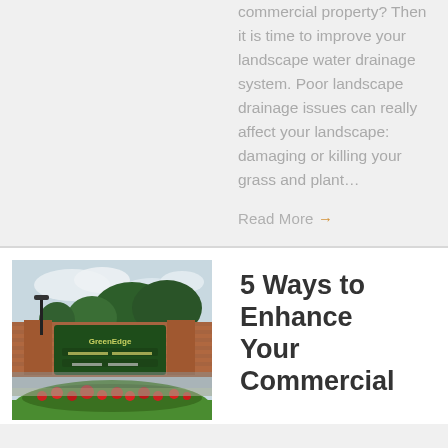commercial property? Then it is time to improve your landscape water drainage system. Poor landscape drainage issues can really affect your landscape: damaging or killing your grass and plant…
Read More →
[Figure (photo): Outdoor photo of a commercial property entrance with a GreenEdge sign, red brick pillars, flowering shrubs with red flowers in the foreground, green trees in the background, and a parking lot.]
5 Ways to Enhance Your Commercial